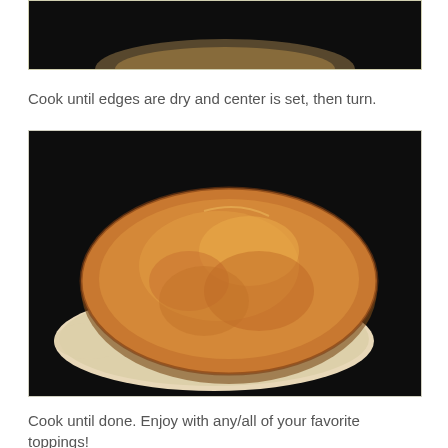[Figure (photo): Top portion of a pancake cooking on a dark griddle, showing the top edge of the image cropped.]
Cook until edges are dry and center is set, then turn.
[Figure (photo): A golden-brown pancake stacked on a dark griddle, showing a fully cooked top side with characteristic browning and a second pancake underneath with bubbles forming on its surface.]
Cook until done. Enjoy with any/all of your favorite toppings!